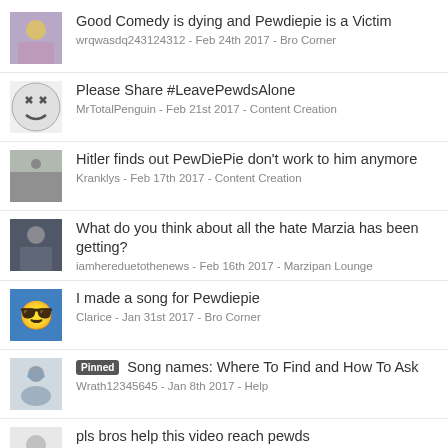Good Comedy is dying and Pewdiepie is a Victim
wrqwasdq243124312 - Feb 24th 2017 - Bro Corner
Please Share #LeavePewdsAlone
MrTotalPenguin - Feb 21st 2017 - Content Creation
Hitler finds out PewDiePie don't work to him anymore
Kranklys - Feb 17th 2017 - Content Creation
What do you think about all the hate Marzia has been getting?
iamhereduetothenews - Feb 16th 2017 - Marzipan Lounge
I made a song for Pewdiepie
Clarice - Jan 31st 2017 - Bro Corner
Pinned Song names: Where To Find and How To Ask
Wrath12345645 - Jan 8th 2017 - Help
pls bros help this video reach pewds
yoloswagia - Jan 5th 2017 - Forum Games